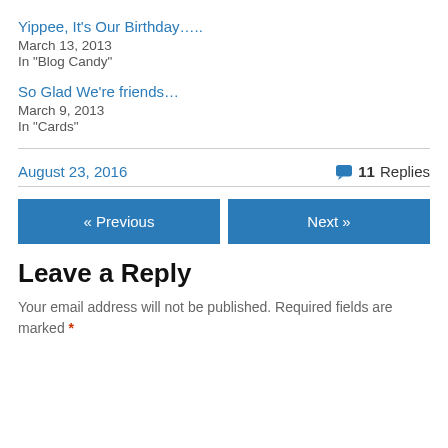Yippee, It's Our Birthday…..
March 13, 2013
In "Blog Candy"
So Glad We're friends…
March 9, 2013
In "Cards"
August 23, 2016   11 Replies
« Previous
Next »
Leave a Reply
Your email address will not be published. Required fields are marked *